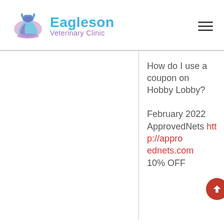[Figure (logo): Eagleson Veterinary Clinic logo with a blue and purple dog/cat silhouette icon and the clinic name in blue and purple text]
How do I use a coupon on Hobby Lobby?
February 2022 ApprovedNets http://approvednets.com 10% OFF